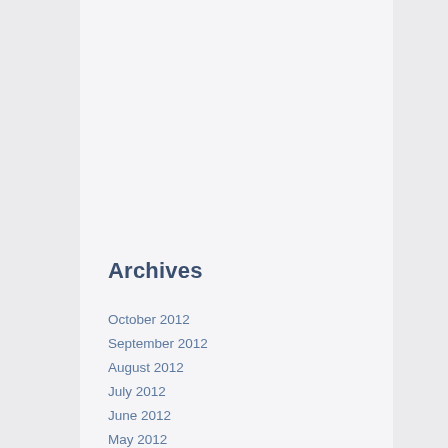Archives
October 2012
September 2012
August 2012
July 2012
June 2012
May 2012
April 2012
March 2012
February 2012